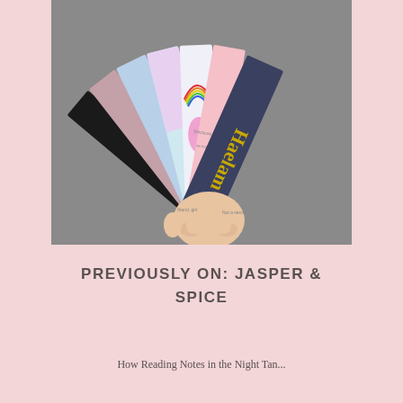[Figure (photo): A hand holding a fan of colorful bookmarks fanned out. Bookmarks include various designs: a dark one labeled 'Helena', pastel colored ones, a My Little Pony themed one with a rainbow, and a dark blue one with gold Gothic lettering reading 'Haelam'. The background is grey.]
PREVIOUSLY ON: JASPER & SPICE
How Reading Notes in the Night Tan...